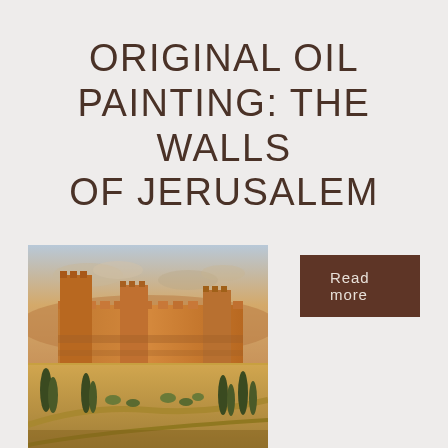ORIGINAL OIL PAINTING: THE WALLS OF JERUSALEM
[Figure (illustration): Oil painting depicting the ancient walls of Jerusalem with towers and fortifications, warm golden tones, cypress trees and landscape in foreground, soft sky with clouds in background]
Read more